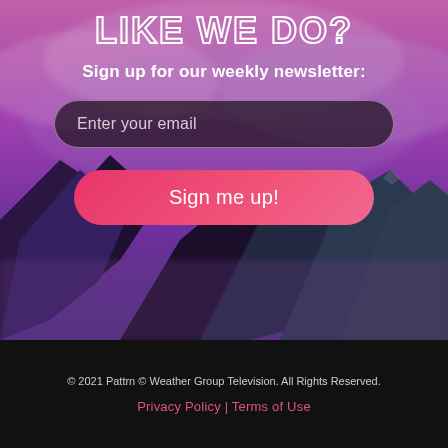[Figure (illustration): Purple and pink gradient mountain landscape with dramatic cloudy sky as background]
LIKE WE DO?
Sign up for our weekly newsletter:
Enter your email
Sign me up!
© 2021 Pattrn © Weather Group Television. All Rights Reserved. Privacy Policy | Terms of Use